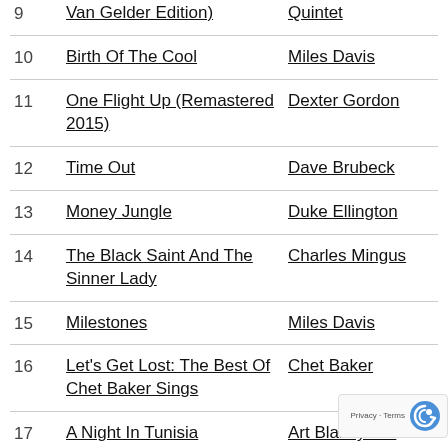9 Van Gelder Edition) — Quintet
10 Birth Of The Cool — Miles Davis
11 One Flight Up (Remastered 2015) — Dexter Gordon
12 Time Out — Dave Brubeck
13 Money Jungle — Duke Ellington
14 The Black Saint And The Sinner Lady — Charles Mingus
15 Milestones — Miles Davis
16 Let's Get Lost: The Best Of Chet Baker Sings — Chet Baker
17 A Night In Tunisia (Remaster) — Art Blakey & The Jazz Messengers